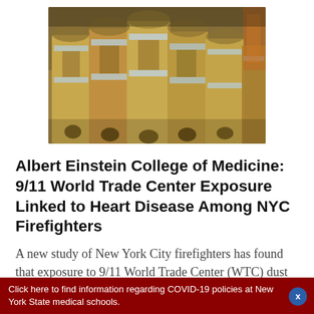[Figure (photo): Row of firefighters in yellow/tan fire-resistant gear and helmets, viewed from behind, standing in a line. High-visibility reflective stripes on jackets visible.]
Albert Einstein College of Medicine: 9/11 World Trade Center Exposure Linked to Heart Disease Among NYC Firefighters
A new study of New York City firefighters has found that exposure to 9/11 World Trade Center (WTC) dust is associated with a significantly
Click here to find information regarding COVID-19 policies at New York State medical schools.